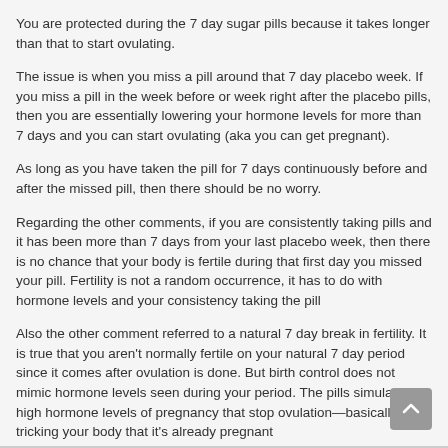You are protected during the 7 day sugar pills because it takes longer than that to start ovulating.
The issue is when you miss a pill around that 7 day placebo week. If you miss a pill in the week before or week right after the placebo pills, then you are essentially lowering your hormone levels for more than 7 days and you can start ovulating (aka you can get pregnant).
As long as you have taken the pill for 7 days continuously before and after the missed pill, then there should be no worry.
Regarding the other comments, if you are consistently taking pills and it has been more than 7 days from your last placebo week, then there is no chance that your body is fertile during that first day you missed your pill. Fertility is not a random occurrence, it has to do with hormone levels and your consistency taking the pill
Also the other comment referred to a natural 7 day break in fertility. It is true that you aren't normally fertile on your natural 7 day period since it comes after ovulation is done. But birth control does not mimic hormone levels seen during your period. The pills simulate high hormone levels of pregnancy that stop ovulation—basically tricking your body that it's already pregnant